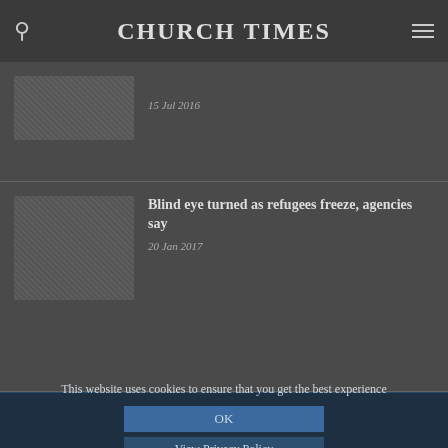CHURCH TIMES
[Figure (photo): Grayscale thumbnail photo of people outdoors, first article]
15 Jul 2016
[Figure (photo): Grayscale thumbnail photo of refugees in cold weather]
Blind eye turned as refugees freeze, agencies say
20 Jan 2017
This website uses cookies to ensure that you get the best experience
OK
View Privacy Policy